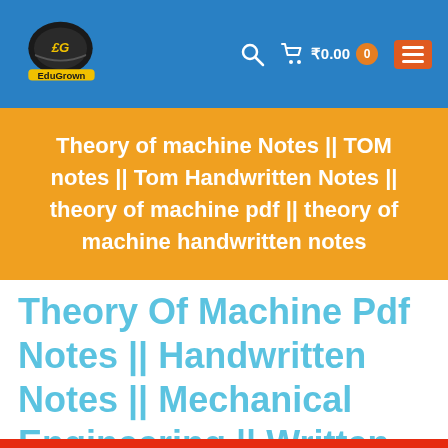EduGrown — ₹0.00 0
Theory of machine Notes || TOM notes || Tom Handwritten Notes || theory of machine pdf || theory of machine handwritten notes
Theory Of Machine Pdf Notes || Handwritten Notes || Mechanical Engineering || Written By Ashish Sir